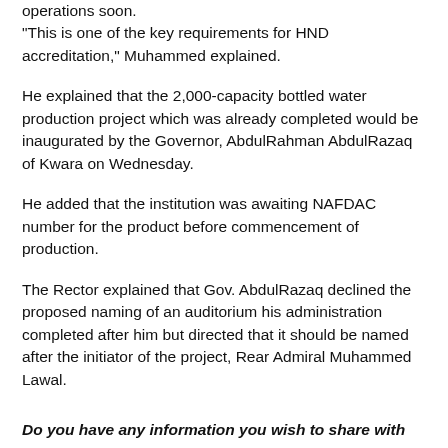operations soon.
"This is one of the key requirements for HND accreditation," Muhammed explained.
He explained that the 2,000-capacity bottled water production project which was already completed would be inaugurated by the Governor, AbdulRahman AbdulRazaq of Kwara on Wednesday.
He added that the institution was awaiting NAFDAC number for the product before commencement of production.
The Rector explained that Gov. AbdulRazaq declined the proposed naming of an auditorium his administration completed after him but directed that it should be named after the initiator of the project, Rear Admiral Muhammed Lawal.
Do you have any information you wish to share with us? Do you